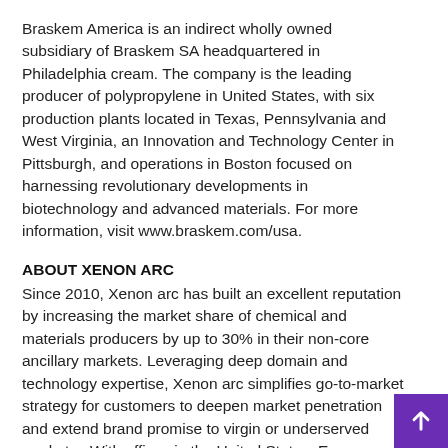Braskem America is an indirect wholly owned subsidiary of Braskem SA headquartered in Philadelphia cream. The company is the leading producer of polypropylene in United States, with six production plants located in Texas, Pennsylvania and West Virginia, an Innovation and Technology Center in Pittsburgh, and operations in Boston focused on harnessing revolutionary developments in biotechnology and advanced materials. For more information, visit www.braskem.com/usa.
ABOUT XENON ARC
Since 2010, Xenon arc has built an excellent reputation by increasing the market share of chemical and materials producers by up to 30% in their non-core ancillary markets. Leveraging deep domain and technology expertise, Xenon arc simplifies go-to-market strategy for customers to deepen market penetration and extend brand promise to virgin or underserved markets . With offices in the United States, Europe, Mexico, and Brazil, Xenon arc serves distinguished brands in the materials industry with private label teams and